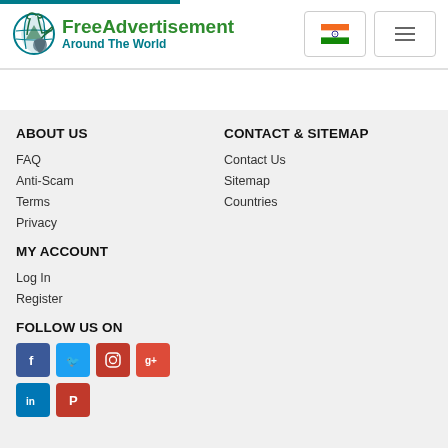FreeAdvertisement Around The World
ABOUT US
FAQ
Anti-Scam
Terms
Privacy
CONTACT & SITEMAP
Contact Us
Sitemap
Countries
MY ACCOUNT
Log In
Register
FOLLOW US ON
[Figure (other): Social media icons: Facebook, Twitter, Instagram, Google+, LinkedIn, Pinterest]